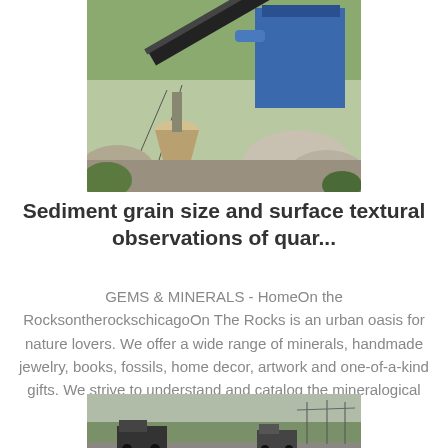[Figure (photo): Aerial view of a quarry or mining facility with industrial machinery including a cone crusher, conveyor belts, and a blue dust collection unit. Rocky terrain and green fields visible in background.]
Sediment grain size and surface textural observations of quar...
GEMS & MINERALS - HomeOn the RocksontherockschicagoOn The Rocks is an urban oasis for nature lovers. We offer a wide range of minerals, handmade jewelry, books, fossils, home decor, artwork and one-of-a-kind gifts. We strive to understand and catalog the mineralogical wonders of our ...
[Figure (photo): Industrial or quarry scene showing trucks and equipment on a road with trees in the background.]